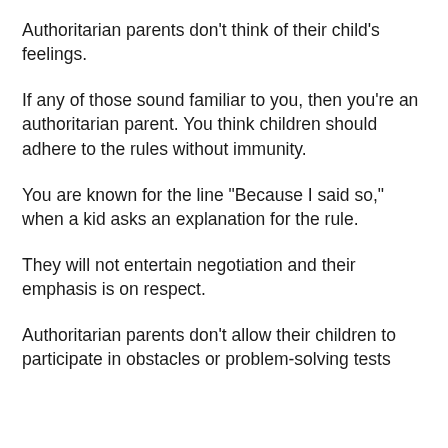Authoritarian parents don’t think of their child’s feelings.
If any of those sound familiar to you, then you’re an authoritarian parent. You think children should adhere to the rules without immunity.
You are known for the line “Because I said so,” when a kid asks an explanation for the rule.
They will not entertain negotiation and their emphasis is on respect.
Authoritarian parents don’t allow their children to participate in obstacles or problem-solving tests